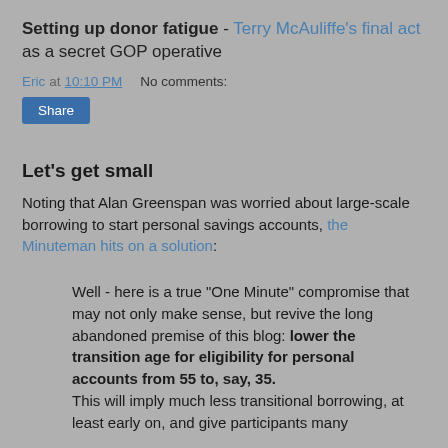Setting up donor fatigue - Terry McAuliffe's final act as a secret GOP operative
Eric at 10:10 PM    No comments:
Share
Let's get small
Noting that Alan Greenspan was worried about large-scale borrowing to start personal savings accounts, the Minuteman hits on a solution:
Well - here is a true "One Minute" compromise that may not only make sense, but revive the long abandoned premise of this blog: lower the transition age for eligibility for personal accounts from 55 to, say, 35. This will imply much less transitional borrowing, at least early on, and give participants many